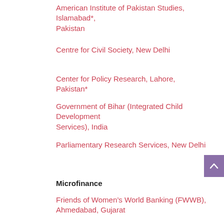American Institute of Pakistan Studies, Islamabad*, Pakistan
Centre for Civil Society, New Delhi
Center for Policy Research, Lahore, Pakistan*
Government of Bihar (Integrated Child Development Services), India
Parliamentary Research Services, New Delhi
Microfinance
Friends of Women’s World Banking (FWWB), Ahmedabad, Gujarat
India Research Center, Harvard Business School New Delhi